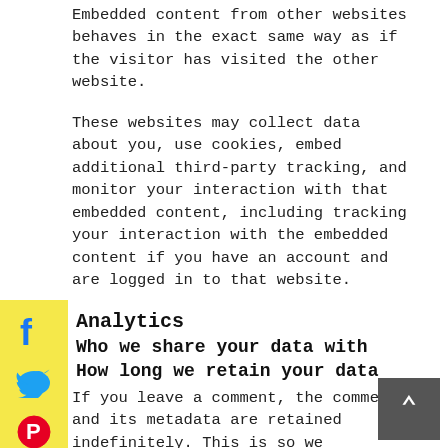Embedded content from other websites behaves in the exact same way as if the visitor has visited the other website.
These websites may collect data about you, use cookies, embed additional third-party tracking, and monitor your interaction with that embedded content, including tracking your interaction with the embedded content if you have an account and are logged in to that website.
Analytics
Who we share your data with
How long we retain your data
If you leave a comment, the comment and its metadata are retained indefinitely. This is so we